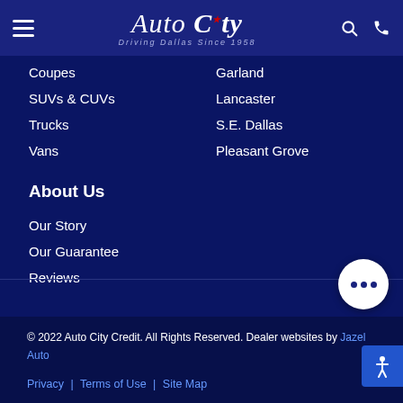Auto City — Driving Dallas Since 1958 — Navigation header
Coupes
Garland
SUVs & CUVs
Lancaster
Trucks
S.E. Dallas
Vans
Pleasant Grove
About Us
Our Story
Our Guarantee
Reviews
© 2022 Auto City Credit. All Rights Reserved. Dealer websites by Jazel Auto
Privacy | Terms of Use | Site Map